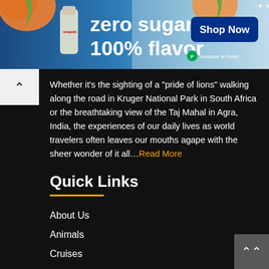[Figure (photo): Snapple advertisement banner with text 'zero sugar 100% flavor', peach imagery, Shop Now button, and Available at Publix logo]
Whether it's the sighting of a "pride of lions" walking along the road in Kruger National Park in South Africa or the breathtaking view of the Taj Mahal in Agra, India, the experiences of our daily lives as world travelers often leaves our mouths agape with the sheer wonder of it all…Read More
Quick Links
About Us
Animals
Cruises
Food Around The World
Future Travel Plans